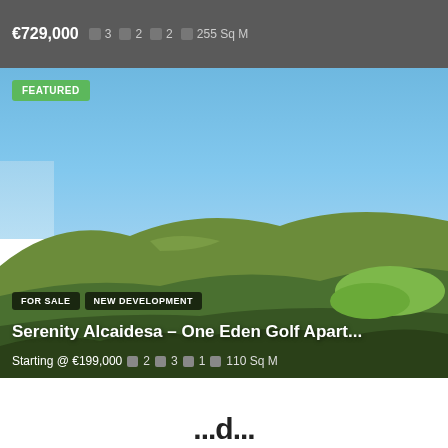€729,000  □ 3  □ 2  □ 2  □ 255 Sq M
[Figure (photo): Aerial/landscape photo of a golf course and hillside near the sea, with clear blue sky. A 'FEATURED' green badge is shown in the top-left corner. Tags 'FOR SALE' and 'NEW DEVELOPMENT' appear near the bottom.]
Serenity Alcaidesa – One Eden Golf Apart...
Starting @ €199,000  □ 2  □ 3  □ 1  □ 110 Sq M
...